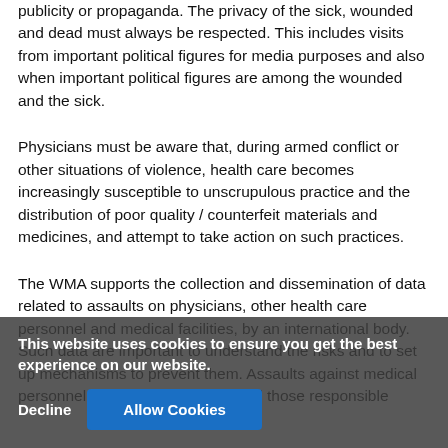publicity or propaganda. The privacy of the sick, wounded and dead must always be respected. This includes visits from important political figures for media purposes and also when important political figures are among the wounded and the sick.
Physicians must be aware that, during armed conflict or other situations of violence, health care becomes increasingly susceptible to unscrupulous practice and the distribution of poor quality / counterfeit materials and medicines, and attempt to take action on such practices.
The WMA supports the collection and dissemination of data related to assaults on physicians, other health care personnel and medical facilities, by an international body. Such data are important to understand the risks and to set up mechanisms to prevent them. Assaults against medical personnel must be investigated and those responsible
This website uses cookies to ensure you get the best experience on our website.